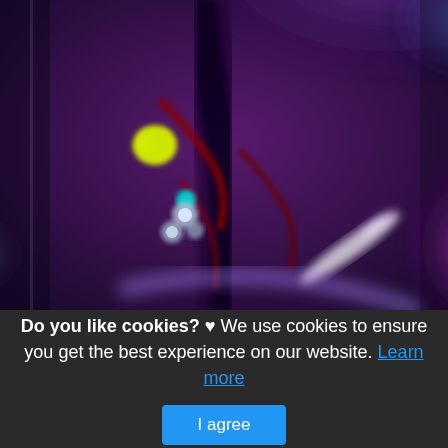[Figure (photo): Fluorescence or false-color MRI image of what appears to be a joint or anatomical structure, with vivid colors including purple, blue, green, yellow, cyan, and red/dark tones on a dark background. Likely a medical imaging scan of a wrist or ankle joint with fluorescent contrast.]
Do you like cookies? ♥ We use cookies to ensure you get the best experience on our website. Learn more